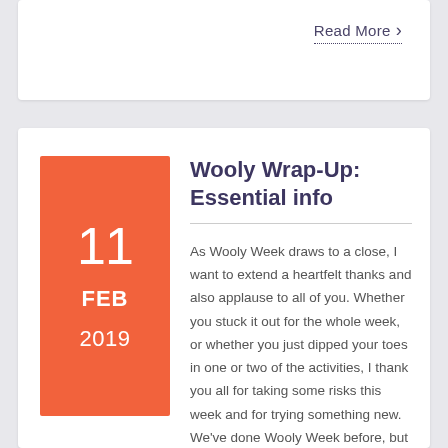Read More >
Wooly Wrap-Up: Essential info
11 FEB 2019
As Wooly Week draws to a close, I want to extend a heartfelt thanks and also applause to all of you. Whether you stuck it out for the whole week, or whether you just dipped your toes in one or two of the activities, I thank you all for taking some risks this week and for trying something new. We've done Wooly Week before, but we've never done Wooly Week like this. I hope that